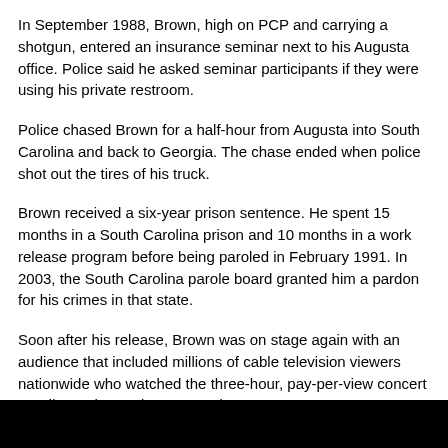In September 1988, Brown, high on PCP and carrying a shotgun, entered an insurance seminar next to his Augusta office. Police said he asked seminar participants if they were using his private restroom.
Police chased Brown for a half-hour from Augusta into South Carolina and back to Georgia. The chase ended when police shot out the tires of his truck.
Brown received a six-year prison sentence. He spent 15 months in a South Carolina prison and 10 months in a work release program before being paroled in February 1991. In 2003, the South Carolina parole board granted him a pardon for his crimes in that state.
Soon after his release, Brown was on stage again with an audience that included millions of cable television viewers nationwide who watched the three-hour, pay-per-view concert at Wiltern Theatre in Los Angeles.
Adrienne Brown died in 1996 in Los Angeles at age 47. She took PCP and several prescription drugs while she had a bad heart and was weak from cosmetic surgery two days earlier, the coroner said.
More recently, he married his fourth wife, Tomi Raye Hynie, one of his backup singers. The couple had a son, James Jr.
Two years later, Brown spent a week in a private Columbia hospital,